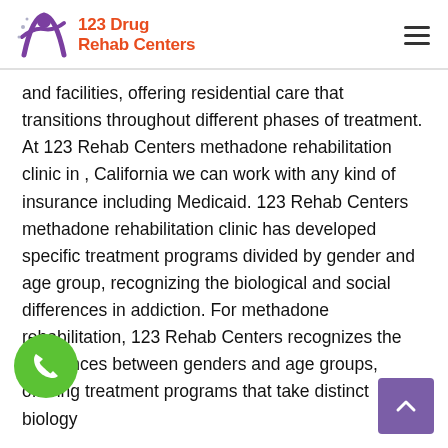123 Drug Rehab Centers
and facilities, offering residential care that transitions throughout different phases of treatment. At 123 Rehab Centers methadone rehabilitation clinic in , California we can work with any kind of insurance including Medicaid. 123 Rehab Centers methadone rehabilitation clinic has developed specific treatment programs divided by gender and age group, recognizing the biological and social differences in addiction. For methadone rehabilitation, 123 Rehab Centers recognizes the differences between genders and age groups, offering treatment programs that take distinct biology